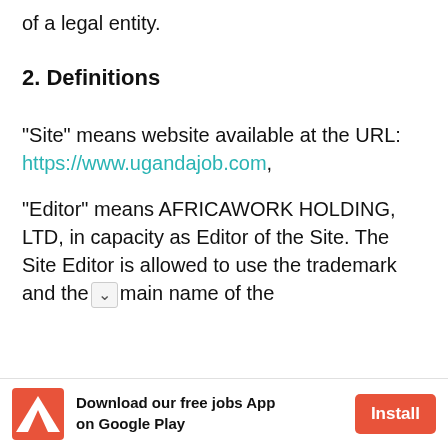of a legal entity.
2. Definitions
"Site" means website available at the URL: https://www.ugandajob.com,
"Editor" means AFRICAWORK HOLDING, LTD, in capacity as Editor of the Site. The Site Editor is allowed to use the trademark and the [dropdown] main name of the
[Figure (other): Bottom advertisement bar: Adobe/AfricaWork logo (red triangle A), text 'Download our free jobs App on Google Play', and an Install button in red/orange.]